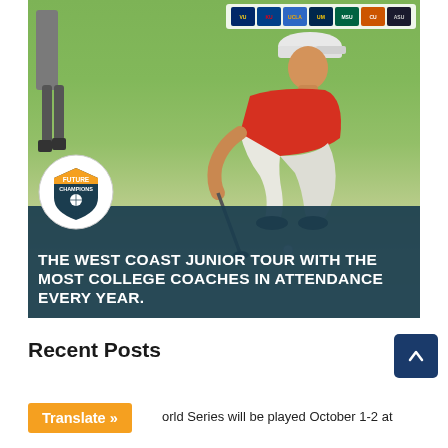[Figure (photo): A junior golfer in a red shirt and white pants crouching to read a putt on a green, with the Future Champions Golf logo in the lower left and a dark teal overlay banner reading 'THE WEST COAST JUNIOR TOUR WITH THE MOST COLLEGE COACHES IN ATTENDANCE EVERY YEAR.' College logos appear in a strip at the top right.]
Recent Posts
8... orld Series will be played October 1-2 at